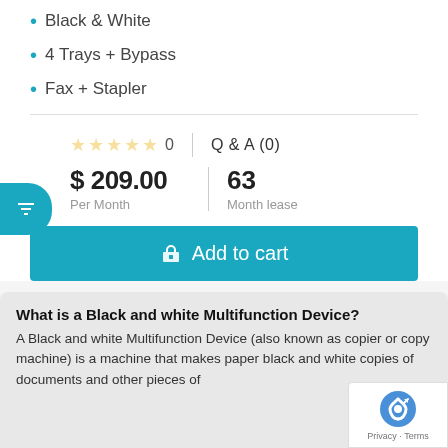Black & White
4 Trays + Bypass
Fax + Stapler
☆☆☆☆☆ 0   Q & A (0)
$ 209.00 Per Month   63 Month lease
Add to cart
What is a Black and white Multifunction Device?
A Black and white Multifunction Device (also known as copier or copy machine) is a machine that makes paper black and white copies of documents and other pieces of